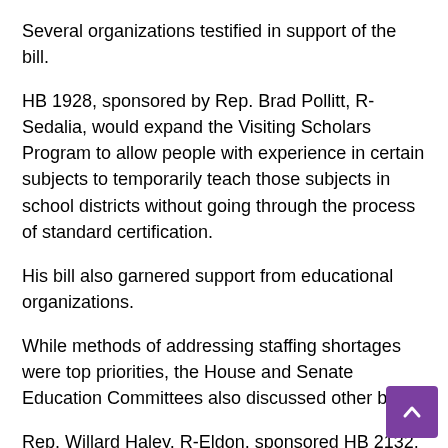Several organizations testified in support of the bill.
HB 1928, sponsored by Rep. Brad Pollitt, R-Sedalia, would expand the Visiting Scholars Program to allow people with experience in certain subjects to temporarily teach those subjects in school districts without going through the process of standard certification.
His bill also garnered support from educational organizations.
While methods of addressing staffing shortages were top priorities, the House and Senate Education Committees also discussed other bills.
Rep. Willard Haley, R-Eldon, sponsored HB 2132, which would prevent statewide assessments from including statements or questions that promote concepts that “one race or sex is inherently superior to another race or gender or that an individual’s race or gender is oppressive or objectionable to others,” he said.